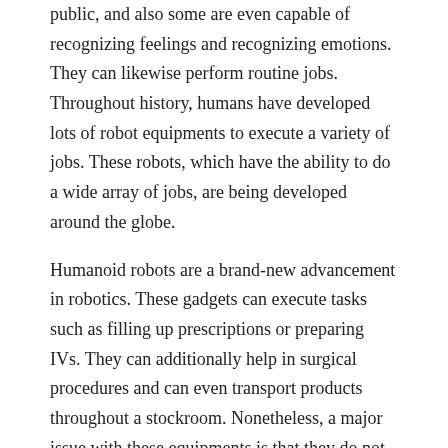public, and also some are even capable of recognizing feelings and recognizing emotions. They can likewise perform routine jobs. Throughout history, humans have developed lots of robot equipments to execute a variety of jobs. These robots, which have the ability to do a wide array of jobs, are being developed around the globe.
Humanoid robots are a brand-new advancement in robotics. These gadgets can execute tasks such as filling up prescriptions or preparing IVs. They can additionally help in surgical procedures and can even transport products throughout a stockroom. Nonetheless, a major issue with these equipments is that they do not have expert system (AI) control systems as well as need the customer to provide